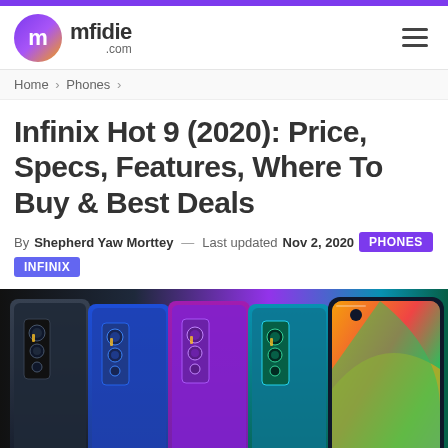mfidie.com
Home > Phones >
Infinix Hot 9 (2020): Price, Specs, Features, Where To Buy & Best Deals
By Shepherd Yaw Morttey — Last updated Nov 2, 2020  PHONES  INFINIX
[Figure (photo): Multiple Infinix Hot 9 smartphones in different colors (black, blue, purple, teal) shown from the back and front, displaying quad camera system and colorful wallpaper on screen]